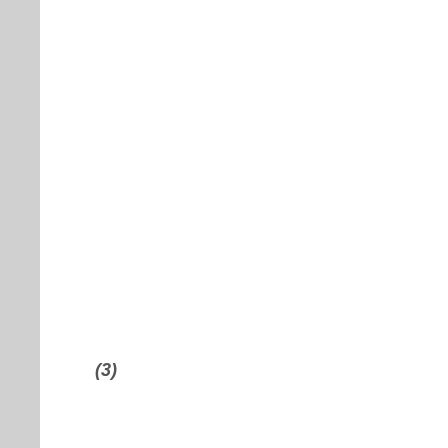realized commodity hedging gain (loss) on an absolute and barrel of oil equivalent ba...
(3)
Funds flow from operations is a non-IFRS measure that represents ca... generated by operating activities, before changes in no... cash working capital and m... not be comparable t...